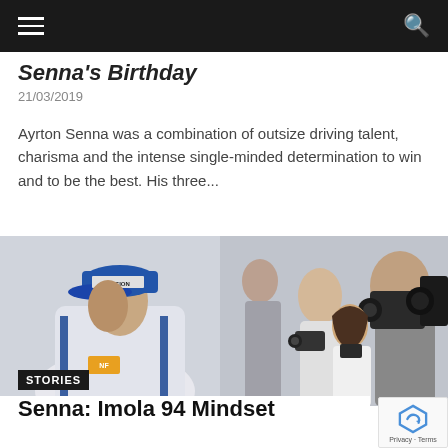≡  🔍
Ayrton Senna's Birthday
21/03/2019
Ayrton Senna was a combination of outsize driving talent, charisma and the intense single-minded determination to win and to be the best. His three...
[Figure (photo): Ayrton Senna wearing a blue NACIONAL cap and white racing suit, surrounded by photographers and media with cameras]
STORIES
Senna: Imola 94 Mindset